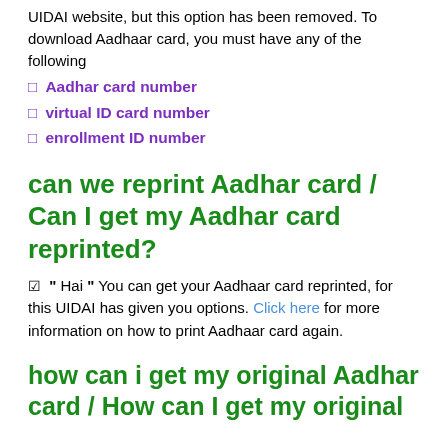UIDAI website, but this option has been removed. To download Aadhaar card, you must have any of the following
Aadhar card number
virtual ID card number
enrollment ID number
can we reprint Aadhar card / Can I get my Aadhar card reprinted?
☑ " Hai " You can get your Aadhaar card reprinted, for this UIDAI has given you options. Click here for more information on how to print Aadhaar card again.
how can i get my original Aadhar card / How can I get my original